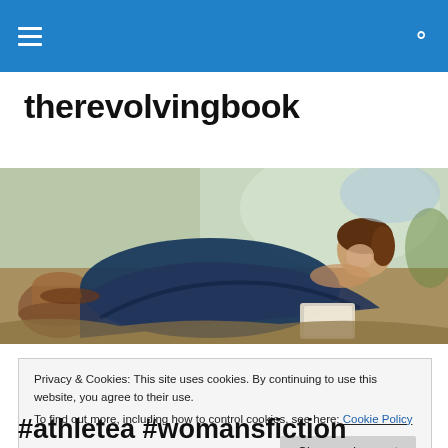therevolvingbook — navigation bar with hamburger menu and search icon
therevolvingbook
[Figure (illustration): Painted/illustrated image of a person lying on grass reading a book, with a hat nearby, blue clothing, outdoor scene with warm earthy tones.]
Privacy & Cookies: This site uses cookies. By continuing to use this website, you agree to their use.
To find out more, including how to control cookies, see here: Cookie Policy
[Close and accept]
#athletea #womansfiction